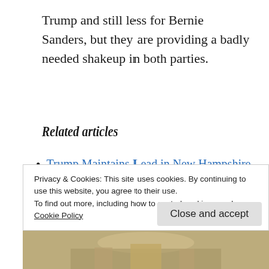Trump and still less for Bernie Sanders, but they are providing a badly needed shakeup in both parties.
Related articles
Trump Maintains Lead in New Hampshire (politicalwire.com)
Privacy & Cookies: This site uses cookies. By continuing to use this website, you agree to their use.
To find out more, including how to control cookies, see here:
Cookie Policy
Close and accept
[Figure (photo): Partial view of a building or architectural image at the bottom of the page]